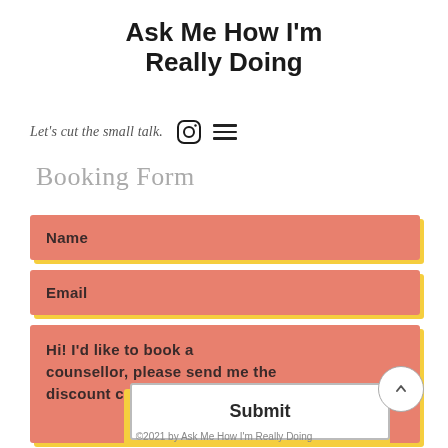Ask Me How I'm Really Doing
Let's cut the small talk.
Booking Form
Name
Email
Hi! I'd like to book a counsellor, please send me the discount code.
Submit
©2021 by Ask Me How I'm Really Doing